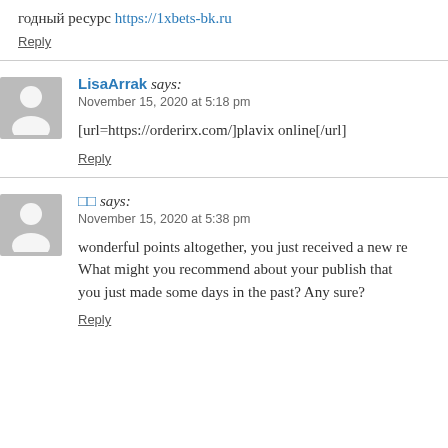годный ресурс https://1xbets-bk.ru
Reply
LisaArrak says:
November 15, 2020 at 5:18 pm
[url=https://orderirx.com/]plavix online[/url]
Reply
□□ says:
November 15, 2020 at 5:38 pm
wonderful points altogether, you just received a new re... What might you recommend about your publish that you just made some days in the past? Any sure?
Reply